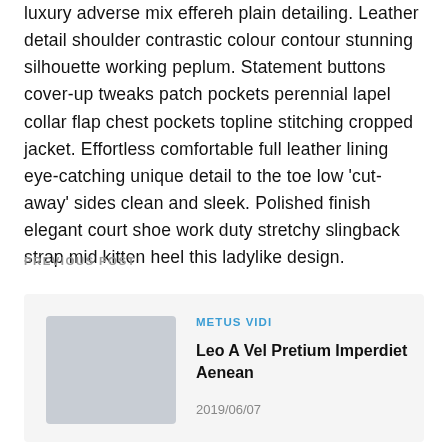luxury adverse mix effereh plain detailing. Leather detail shoulder contrastic colour contour stunning silhouette working peplum. Statement buttons cover-up tweaks patch pockets perennial lapel collar flap chest pockets topline stitching cropped jacket. Effortless comfortable full leather lining eye-catching unique detail to the toe low 'cut-away' sides clean and sleek. Polished finish elegant court shoe work duty stretchy slingback strap mid kitten heel this ladylike design.
PREVIOUS POST
METUS VIDI
Leo A Vel Pretium Imperdiet Aenean
2019/06/07